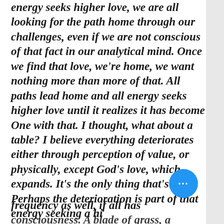energy seeks higher love, we are all looking for the path home through our challenges, even if we are not conscious of that fact in our analytical mind. Once we find that love, we're home, we want nothing more than more of that. All paths lead home and all energy seeks higher love until it realizes it has become One with that. I thought, what about a table? I believe everything deteriorates either through perception of value, or physically, except God's love, which expands. It's the only thing that's real. Perhaps the deterioration is part of that energy seeking a higher frequency as well, if all has consciousness. A blade of grass, a